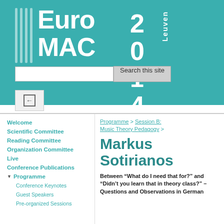[Figure (logo): EuroMAC 2014 Leuven conference logo on teal background with vertical white lines, search bar below]
Welcome
Scientific Committee
Reading Committee
Organization Committee
Live
Conference Publications
Programme
Conference Keynotes
Guest Speakers
Pre-organized Sessions
Programme > Session B: Music Theory Pedagogy >
Markus Sotirianos
Between “What do I need that for?” and “Didn’t you learn that in theory class?” – Questions and Observations in German